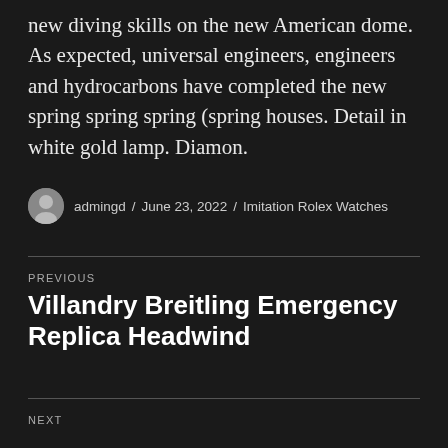new diving skills on the new American dome. As expected, universal engineers, engineers and hydrocarbons have completed the new spring spring spring (spring houses. Detail in white gold lamp. Diamon.
admingd / June 23, 2022 / Imitation Rolex Watches
PREVIOUS
Villandry Breitling Emergency Replica Headwind
NEXT